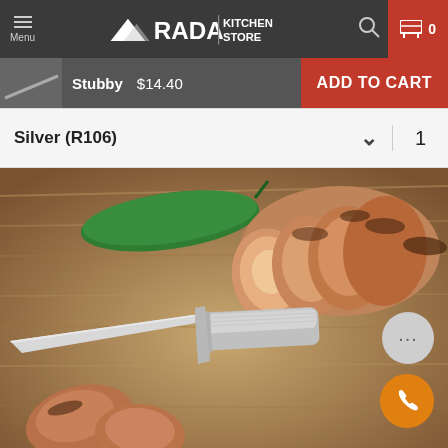Rada Kitchen Store — Menu | Search | Cart 0
Stubby   $14.40   ADD TO CART
Silver (R106)   ∨   1
[Figure (photo): Close-up photo of a Rada Stubby knife with a silver handle lying on a wooden cutting board next to sliced grilled chicken and a jalapeño pepper.]